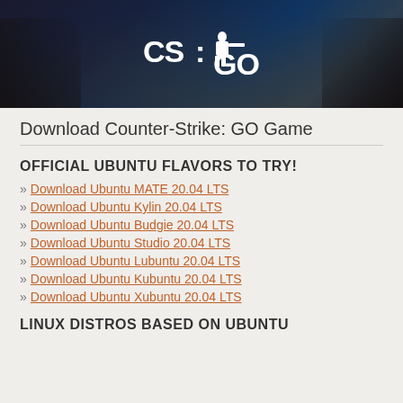[Figure (photo): CS:GO game banner with dark military background and CS:GO logo in white]
Download Counter-Strike: GO Game
OFFICIAL UBUNTU FLAVORS TO TRY!
» Download Ubuntu MATE 20.04 LTS
» Download Ubuntu Kylin 20.04 LTS
» Download Ubuntu Budgie 20.04 LTS
» Download Ubuntu Studio 20.04 LTS
» Download Ubuntu Lubuntu 20.04 LTS
» Download Ubuntu Kubuntu 20.04 LTS
» Download Ubuntu Xubuntu 20.04 LTS
LINUX DISTROS BASED ON UBUNTU